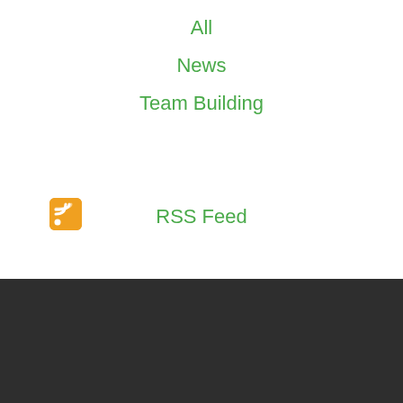All
News
Team Building
[Figure (logo): RSS feed icon — orange rounded square with white RSS symbol]
RSS Feed